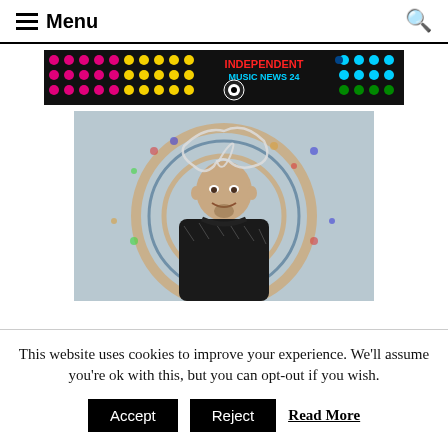Menu
[Figure (logo): Independent Music News 24 banner logo with colorful dot pattern background in pink, yellow, and cyan/blue dots on black, with the text 'INDEPENDENT MUSIC NEWS 24' in the center]
[Figure (photo): A man with a shaved head and goatee smiling, wearing a dark patterned shirt, standing in front of an ornate circular Moroccan-style mosaic tile wall. Above his head is a stylized wire/calligraphy logo.]
This website uses cookies to improve your experience. We'll assume you're ok with this, but you can opt-out if you wish. Accept Reject Read More